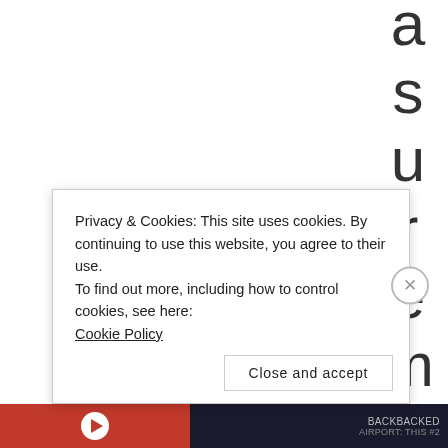[Figure (screenshot): Large vertical text spelling 'a s u r e m e n t' displayed one character per line along the right side of the page, partially visible, in a light gray sans-serif font — appears to be part of a rotated or vertically-oriented word like 'measurement'.]
Privacy & Cookies: This site uses cookies. By continuing to use this website, you agree to their use.
To find out more, including how to control cookies, see here:
Cookie Policy
Close and accept
[Figure (screenshot): Bottom banner area with orange/red section on left containing a play button icon, and a dark navy/black section on right with text 'BACKBACKED' and 'AIRPORT: THIS #2'.]